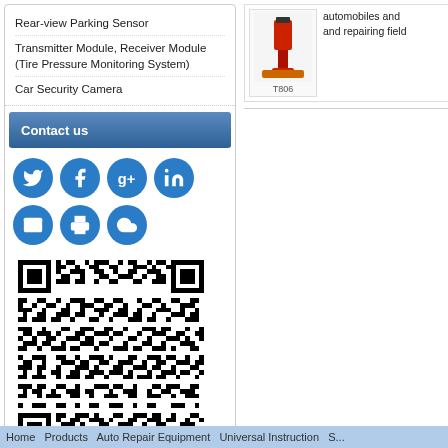Rear-view Parking Sensor
Transmitter Module, Receiver Module (Tire Pressure Monitoring System)
Car Security Camera
Contact us
[Figure (infographic): Social media and contact icons: Twitter, Facebook, Google+, LinkedIn, Email, Print, Cloud]
[Figure (other): QR code image]
automobiles and ... and repairing field...
[Figure (photo): Product image labeled T806, red automotive tool/equipment]
Home  Products  Auto Repair Equipment  Universal Instruction  S...